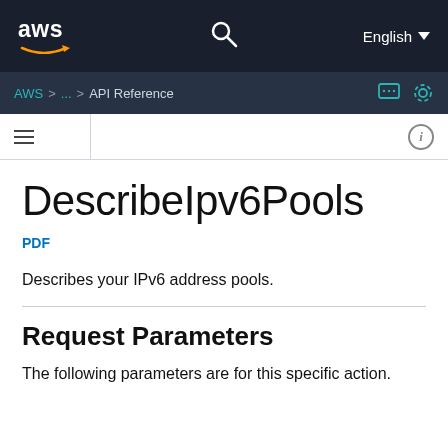aws  English
AWS > ... > API Reference
DescribeIpv6Pools
PDF
Describes your IPv6 address pools.
Request Parameters
The following parameters are for this specific action.